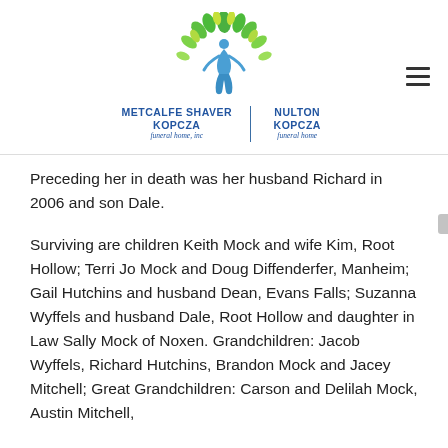Metcalfe Shaver Kopcza funeral home, inc | Nulton Kopcza funeral home
Preceding her in death was her husband Richard in 2006 and son Dale.
Surviving are children Keith Mock and wife Kim, Root Hollow; Terri Jo Mock and Doug Diffenderfer, Manheim; Gail Hutchins and husband Dean, Evans Falls; Suzanna Wyffels and husband Dale, Root Hollow and daughter in Law Sally Mock of Noxen. Grandchildren: Jacob Wyffels, Richard Hutchins, Brandon Mock and Jacey Mitchell; Great Grandchildren: Carson and Delilah Mock, Austin Mitchell,